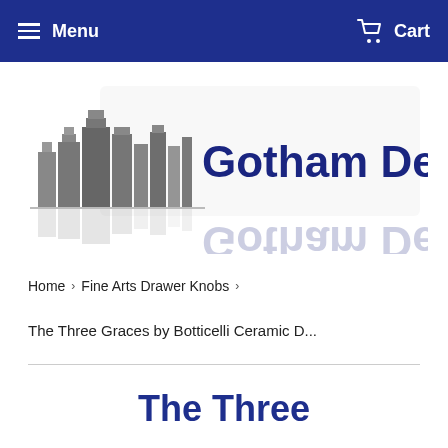Menu   Cart
[Figure (logo): Gotham Decor logo with grayscale city skyline on left and bold dark blue 'Gotham Decor' text with reflection effect]
Home  >  Fine Arts Drawer Knobs  >
The Three Graces by Botticelli Ceramic D...
The Three